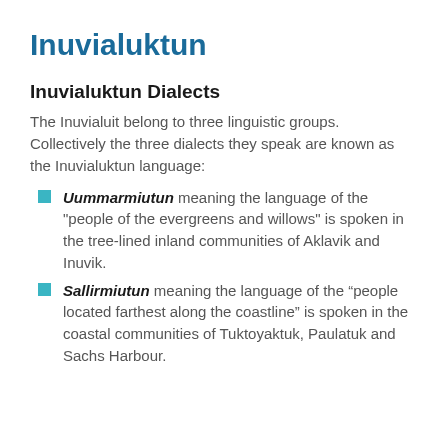Inuvialuktun
Inuvialuktun Dialects
The Inuvialuit belong to three linguistic groups. Collectively the three dialects they speak are known as the Inuvialuktun language:
Uummarmiutun meaning the language of the "people of the evergreens and willows" is spoken in the tree-lined inland communities of Aklavik and Inuvik.
Sallirmiutun meaning the language of the “people located farthest along the coastline” is spoken in the coastal communities of Tuktoyaktuk, Paulatuk and Sachs Harbour.